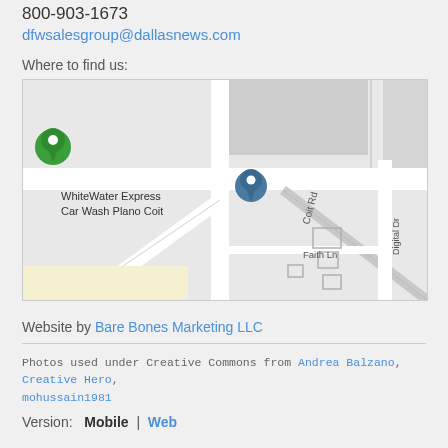800-903-1673
dfwsalesgroup@dallasnews.com
Where to find us:
[Figure (map): Google Maps showing WhiteWater Express Car Wash Plano Coit location with Coit Rd, Digital Dr, and Faith Ln visible]
Website by Bare Bones Marketing LLC
Photos used under Creative Commons from Andrea Balzano, Creative Hero, mohussain1981
Version:  Mobile  |  Web